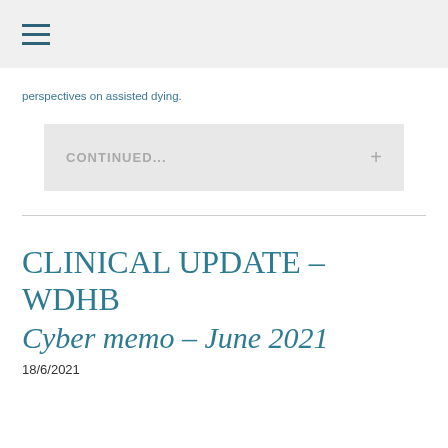≡
perspectives on assisted dying.
CONTINUED...
CLINICAL UPDATE – WDHB
Cyber memo – June 2021
18/6/2021